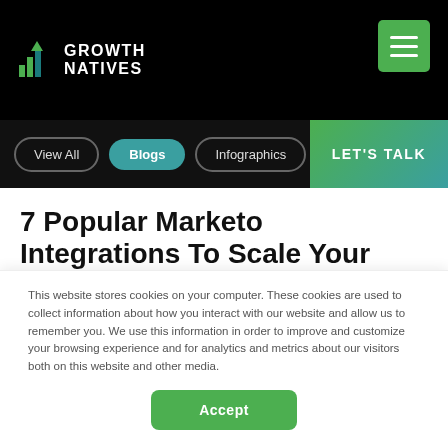Growth Natives
View All
Blogs
Infographics
LET'S TALK
7 Popular Marketo Integrations To Scale Your Marketing Operations
This website stores cookies on your computer. These cookies are used to collect information about how you interact with our website and allow us to remember you. We use this information in order to improve and customize your browsing experience and for analytics and metrics about our visitors both on this website and other media.
Accept